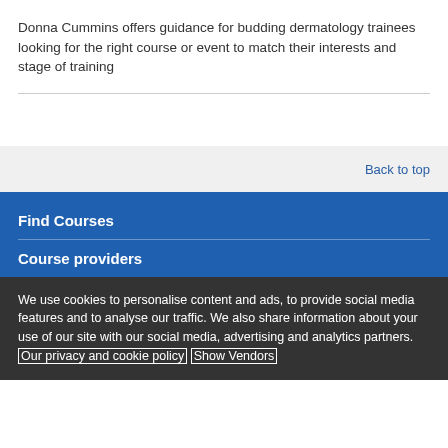Donna Cummins offers guidance for budding dermatology trainees looking for the right course or event to match their interests and stage of training
Back to top
Find Courses
Course providers
We use cookies to personalise content and ads, to provide social media features and to analyse our traffic. We also share information about your use of our site with our social media, advertising and analytics partners. Our privacy and cookie policy Show Vendors